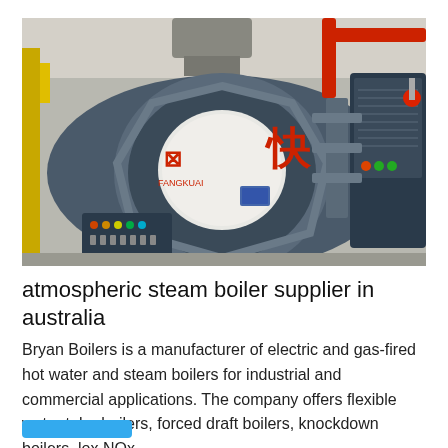[Figure (photo): Industrial steam boiler in a factory setting. A large cylindrical pressure vessel with blue-grey casing displaying Chinese characters (快) in red, a white insulated burner assembly at the front, control panels and piping to the right, and red overhead pipes. The boiler sits on a steel frame structure.]
atmospheric steam boiler supplier in australia
Bryan Boilers is a manufacturer of electric and gas-fired hot water and steam boilers for industrial and commercial applications. The company offers flexible water tube boilers, forced draft boilers, knockdown boilers, lox NOx...